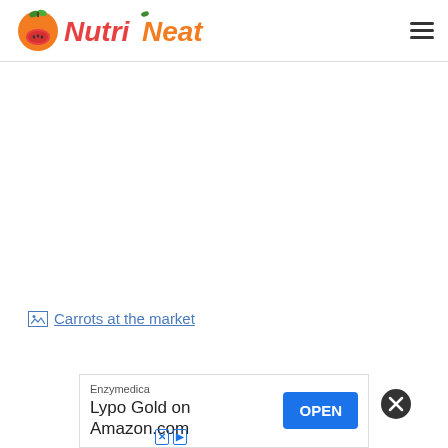NutriNeat
[Figure (photo): Broken image placeholder link: 'Carrots at the market' shown as broken image icon with underlined blue text]
[Figure (other): Close button (X) circle icon for dismissing ad]
Enzymedica
Lypo Gold on Amazon.com
OPEN